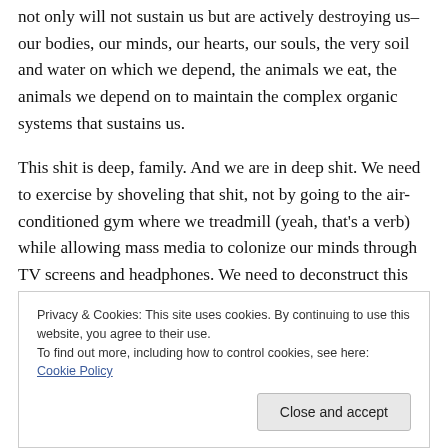not only will not sustain us but are actively destroying us–our bodies, our minds, our hearts, our souls, the very soil and water on which we depend, the animals we eat, the animals we depend on to maintain the complex organic systems that sustains us.
This shit is deep, family. And we are in deep shit. We need to exercise by shoveling that shit, not by going to the air-conditioned gym where we treadmill (yeah, that's a verb) while allowing mass media to colonize our minds through TV screens and headphones. We need to deconstruct this
Privacy & Cookies: This site uses cookies. By continuing to use this website, you agree to their use.
To find out more, including how to control cookies, see here: Cookie Policy